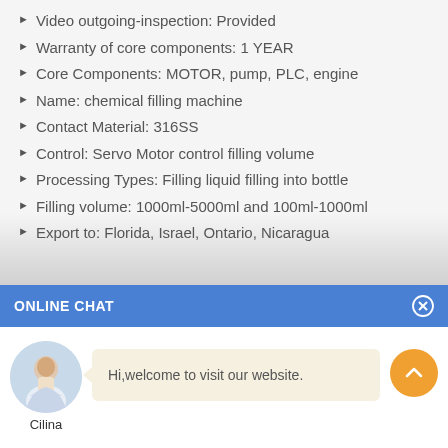Video outgoing-inspection: Provided
Warranty of core components: 1 YEAR
Core Components: MOTOR, pump, PLC, engine
Name: chemical filling machine
Contact Material: 316SS
Control: Servo Motor control filling volume
Processing Types: Filling liquid filling into bottle
Filling volume: 1000ml-5000ml and 100ml-1000ml
Export to: Florida, Israel, Ontario, Nicaragua
ONLINE CHAT
Hi,welcome to visit our website.
Cilina